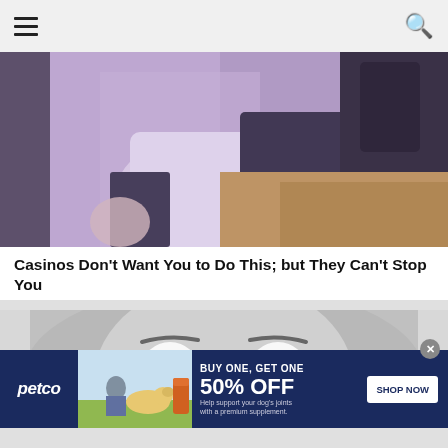navigation bar with hamburger menu and search icon
[Figure (photo): Person in white shirt and black jacket at a casino table, warm carpet visible in background]
Casinos Don't Want You to Do This; but They Can't Stop You
[Figure (photo): Black and white close-up of a man with wide surprised eyes staring into camera]
[Figure (infographic): Petco advertisement banner: BUY ONE, GET ONE 50% OFF. Help support your dog's joints with a premium supplement. SHOP NOW button. Image of woman with golden retriever and supplement bottle.]